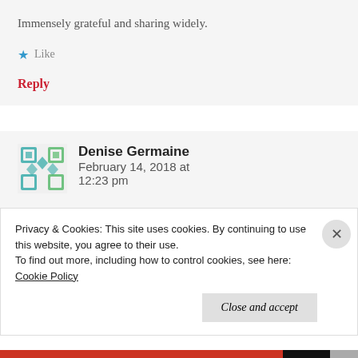Immensely grateful and sharing widely.
Like
Reply
Denise Germaine   February 14, 2018 at 12:23 pm
I know, you must have had to sign a gag
Privacy & Cookies: This site uses cookies. By continuing to use this website, you agree to their use. To find out more, including how to control cookies, see here: Cookie Policy
Close and accept